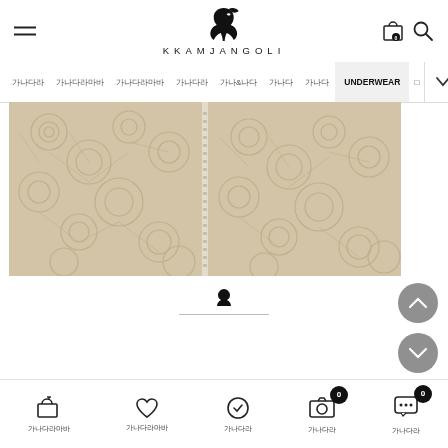KKAMJANGOLI - brand logo and navigation header
[Figure (screenshot): E-commerce website navigation bar with Korean menu items and UNDERWEAR category highlighted]
[Figure (photo): Close-up photograph of cream/beige lace fabric with floral pattern and zipper detail in the center]
[Figure (screenshot): Bottom navigation toolbar with cart, wishlist, order check, camera, and chat icons with Korean labels]